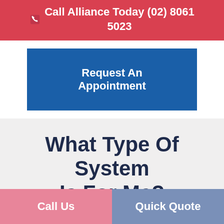Call Alliance Today (02) 8061 5023
Request An Appointment
What Type Of System Is For Me?
Call Us
Quick Quote